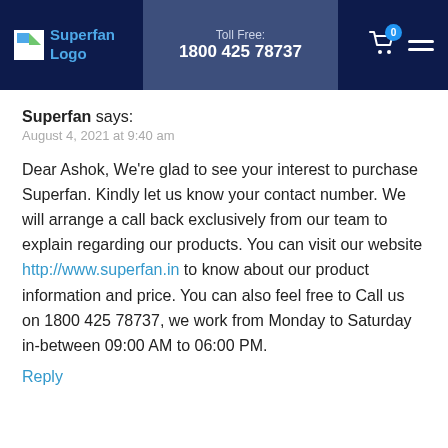Superfan Logo | Toll Free: 1800 425 78737
Superfan says:
August 4, 2021 at 9:40 am

Dear Ashok, We're glad to see your interest to purchase Superfan. Kindly let us know your contact number. We will arrange a call back exclusively from our team to explain regarding our products. You can visit our website http://www.superfan.in to know about our product information and price. You can also feel free to Call us on 1800 425 78737, we work from Monday to Saturday in-between 09:00 AM to 06:00 PM.
Reply